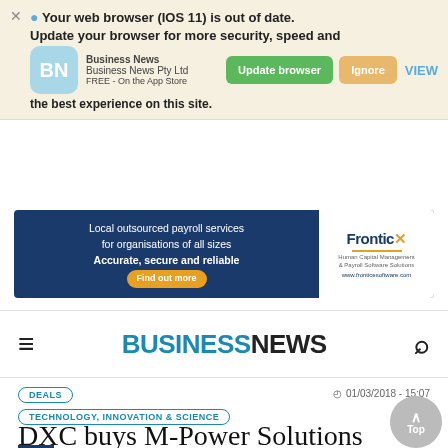Your web browser (iOS 11) is out of date. Update your browser for more security, speed and the best experience on this site.
[Figure (screenshot): Browser update notification banner with app promo for Business News Pty Ltd, Update browser and Ignore buttons]
[Figure (screenshot): Advertisement banner: Local outsourced payroll services for organisations of all sizes. Accurate, secure and reliable. Frontice software logo.]
BUSINESSNEWS
DEALS
TECHNOLOGY, INNOVATION & SCIENCE
01/03/2018 - 15:07
DXC buys M-Power Solutions